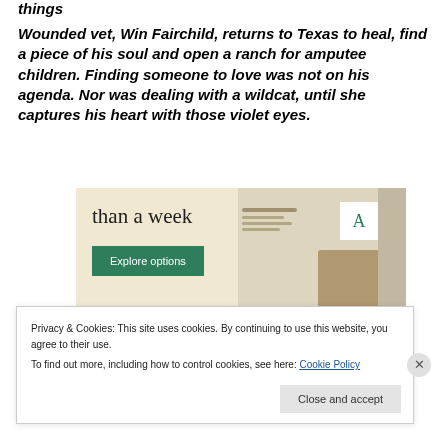things
Wounded vet, Win Fairchild, returns to Texas to heal, find a piece of his soul and open a ranch for amputee children. Finding someone to love was not on his agenda. Nor was dealing with a wildcat, until she captures his heart with those violet eyes.
[Figure (screenshot): Advertisement banner with beige background showing text 'than a week', a green 'Explore options' button, and screenshots of a website/app with food images and a logo 'A'.]
Privacy & Cookies: This site uses cookies. By continuing to use this website, you agree to their use.
To find out more, including how to control cookies, see here: Cookie Policy
Close and accept